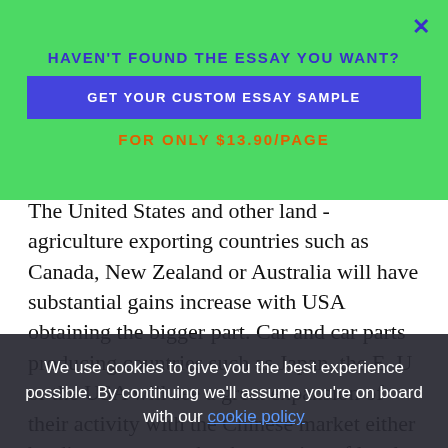[Figure (screenshot): Green popup overlay with 'HAVEN'T FOUND THE ESSAY YOU WANT?' heading, a blue 'GET YOUR CUSTOM ESSAY SAMPLE' button, and 'FOR ONLY $13.90/PAGE' text.]
The United States and other land - agriculture exporting countries such as Canada, New Zealand or Australia will have substantial gains increase with USA obtaining the bigger part. Car and car parts producing countries such as Japan, the E. U or the USA will see a great expansion of their activity with the Chinese market either by direct export or by the creation of local joint ventures. Semiconductor, telecom and computer maker's countries such as USA, Japan and some southern Asia countries will be taking advantage of the customs barriers lifting at the entry of the Chinese market.
[Figure (screenshot): Dark cookie consent banner reading 'We use cookies to give you the best experience possible. By continuing we'll assume you're on board with our cookie policy']
Cooper, steel producer or energy export contribution towards china will increase as long as China growth will need more and more raw material